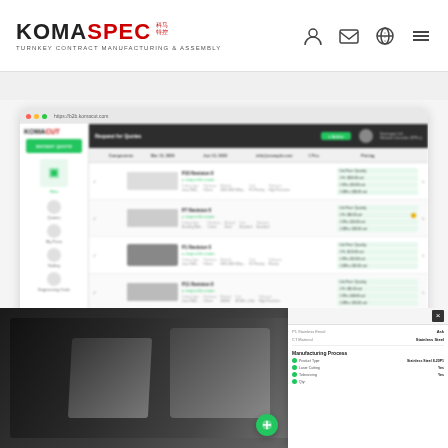[Figure (logo): KOMASPEC logo with red Chinese characters and tagline TURNKEY CONTRACT MANUFACTURING & ASSEMBLY]
[Figure (screenshot): Browser screenshot of KOMASPEC Request for Quotes web portal showing a table of parts (P10 Revision 0, P7 Revision 0, P1 Revision 0, P11 Revision 0, P6-1 Revision 0) with pricing badges and status links, alongside a sidebar navigation]
[Figure (photo): Dark background product photo showing electronic devices (appears to be Mac Mini or similar devices) with a mobile phone mockup overlay showing manufacturing process details including Product Type: Stainless Steel 8-20P1, Laser Cutting, Tolerancing, and other specifications]